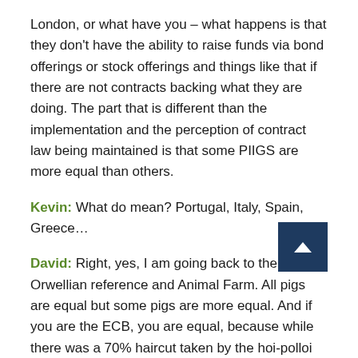London, or what have you – what happens is that they don't have the ability to raise funds via bond offerings or stock offerings and things like that if there are not contracts backing what they are doing. The part that is different than the implementation and the perception of contract law being maintained is that some PIIGS are more equal than others.
Kevin: What do mean? Portugal, Italy, Spain, Greece…
David: Right, yes, I am going back to the Orwellian reference and Animal Farm. All pigs are equal but some pigs are more equal. And if you are the ECB, you are equal, because while there was a 70% haircut taken by the hoi-polloi bond-holder, guess what? If you are the ECB, you could take that Greek debt on to your balance sheet, and